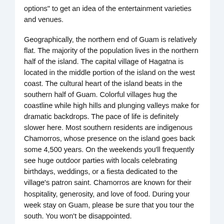options" to get an idea of the entertainment varieties and venues.
Geographically, the northern end of Guam is relatively flat. The majority of the population lives in the northern half of the island. The capital village of Hagatna is located in the middle portion of the island on the west coast. The cultural heart of the island beats in the southern half of Guam. Colorful villages hug the coastline while high hills and plunging valleys make for dramatic backdrops. The pace of life is definitely slower here. Most southern residents are indigenous Chamorros, whose presence on the island goes back some 4,500 years. On the weekends you'll frequently see huge outdoor parties with locals celebrating birthdays, weddings, or a fiesta dedicated to the village's patron saint. Chamorros are known for their hospitality, generosity, and love of food. During your week stay on Guam, please be sure that you tour the south. You won't be disappointed.
For those who want to learn more about Guam, both past and present, I encourage you to visit the internet site for "guampedia.com". This is an invaluable resource for anyone interested in gaining a better understanding of Guam's history and culture. You can also view the attached film produced by the Guam Visitors' Bureau.
I offer one note of caution. Like any other community in the United States, crime exists. Tourism often attracts petty thieves. As you would anywhere, exercise common sense when walking around and touring. Lock your car and don't leave valuables unguarded and in plain sight. Lock passports, extra money, and travel documents in your hotel safe.